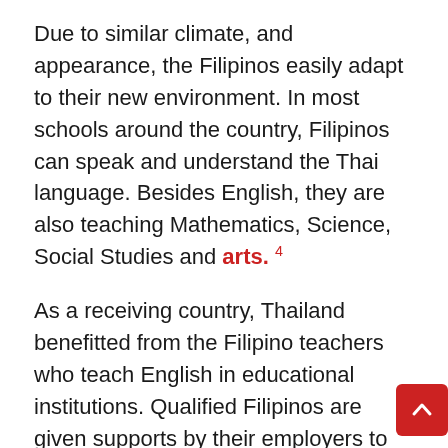Due to similar climate, and appearance, the Filipinos easily adapt to their new environment. In most schools around the country, Filipinos can speak and understand the Thai language. Besides English, they are also teaching Mathematics, Science, Social Studies and arts. 4
As a receiving country, Thailand benefitted from the Filipino teachers who teach English in educational institutions. Qualified Filipinos are given supports by their employers to continue further studies, and research grants. These skills are given back to the Thai students.
As a sending country, the Philippines receives monthly remittances thus, strengthening the purchasing power of the individuals in the micro-level. In the end, the skills added back to the students will